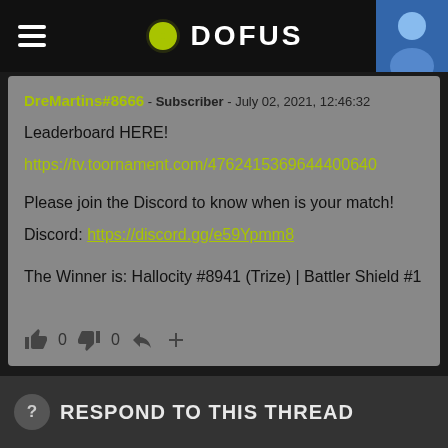DOFUS
DreMartins#8666 - Subscriber - July 02, 2021, 12:46:32
Leaderboard HERE!
https://tv.toornament.com/4762415369644400640

Please join the Discord to know when is your match!

Discord: https://discord.gg/e59Ypmm8


The Winner is: Hallocity #8941 (Trize) | Battler Shield #1
RESPOND TO THIS THREAD